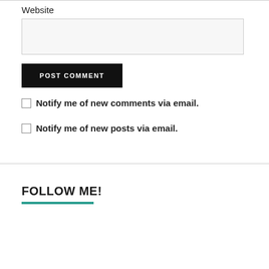Website
[Figure (screenshot): Website text input field (empty, light gray background with border)]
[Figure (screenshot): POST COMMENT button (black background, white uppercase text)]
Notify me of new comments via email.
Notify me of new posts via email.
FOLLOW ME!